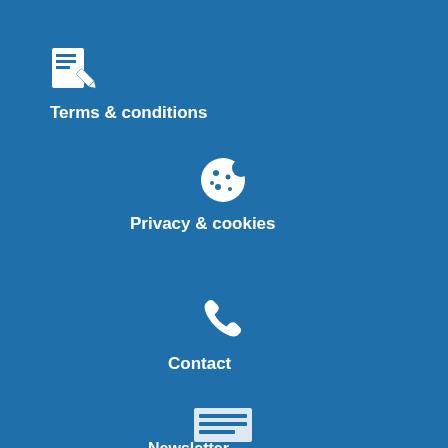[Figure (illustration): White document/edit icon on blue background]
Terms & conditions
[Figure (illustration): White cookie icon on blue background]
Privacy & cookies
[Figure (illustration): White phone/contact icon on blue background]
Contact
[Figure (illustration): White newsletter/list icon on blue background]
Newsletter